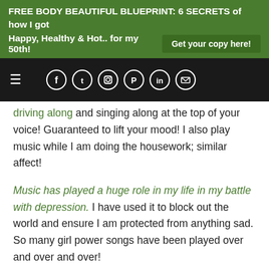FREE BODY BEAUTIFUL BLUEPRINT: 6 SECRETS of how I got Happy, Healthy & Hot.. for my 50th! | Get your copy here!
[Figure (screenshot): Navigation bar with hamburger menu and social media icons (Facebook, Twitter, Instagram, Pinterest, LinkedIn, Email) on dark background]
driving along and singing along at the top of your voice! Guaranteed to lift your mood!  I also play music while I am doing the housework; similar affect!
Music has played a huge role in my life in my battle with depression.  I have used it to block out the world and ensure I am protected from anything sad.  So many girl power songs have been played over and over and over!